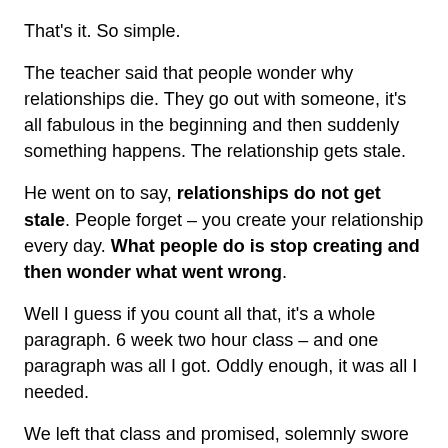That's it. So simple.
The teacher said that people wonder why relationships die. They go out with someone, it's all fabulous in the beginning and then suddenly something happens. The relationship gets stale.
He went on to say, relationships do not get stale. People forget – you create your relationship every day. What people do is stop creating and then wonder what went wrong.
Well I guess if you count all that, it's a whole paragraph. 6 week two hour class – and one paragraph was all I got. Oddly enough, it was all I needed.
We left that class and promised, solemnly swore even. We will create our relationship every day. We will not forget and go stale. We will be fresh. Every day.
Once we decided we create our relationship every day then the next question was – how?
We decided to text each other at least once a day. We don't like to call each other during the day when we are both focused and working, however we religiously text each other